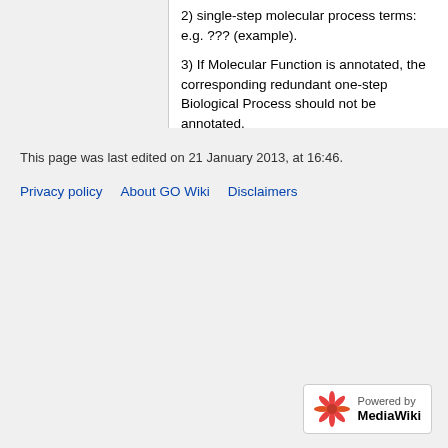2) single-step molecular process terms: e.g. ??? (example).
3) If Molecular Function is annotated, the corresponding redundant one-step Biological Process should not be annotated.
4) downstream processes that a gene product does not 'directly' function in: e.g. PTHR13697: do not propagate to 'regulation of insulin secretion', but propagate to 'cellular glucose homeostasis'.
This page was last edited on 21 January 2013, at 16:46.
Privacy policy   About GO Wiki   Disclaimers